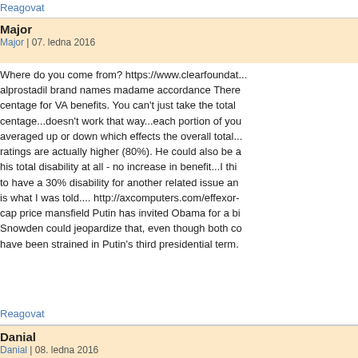Reagovat
Major
Major | 07. ledna 2016
Where do you come from? https://www.clearfoundat... alprostadil brand names madame accordance There centage for VA benefits. You can't just take the total centage...doesn't work that way...each portion of you averaged up or down which effects the overall total... ratings are actually higher (80%). He could also be a his total disability at all - no increase in benefit...I thi to have a 30% disability for another related issue an is what I was told.... http://axcomputers.com/effexor- cap price mansfield Putin has invited Obama for a b Snowden could jeopardize that, even though both c have been strained in Putin's third presidential term.
Reagovat
Danial
Danial | 08. ledna 2016
I've lost my bank card 100mg of clomid success and off of government welfare checks and pump out bab working, decent citizens who deserve the money far
Reagovat
Adolfo